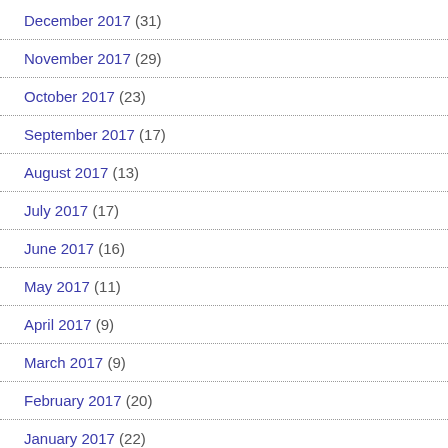December 2017 (31)
November 2017 (29)
October 2017 (23)
September 2017 (17)
August 2017 (13)
July 2017 (17)
June 2017 (16)
May 2017 (11)
April 2017 (9)
March 2017 (9)
February 2017 (20)
January 2017 (22)